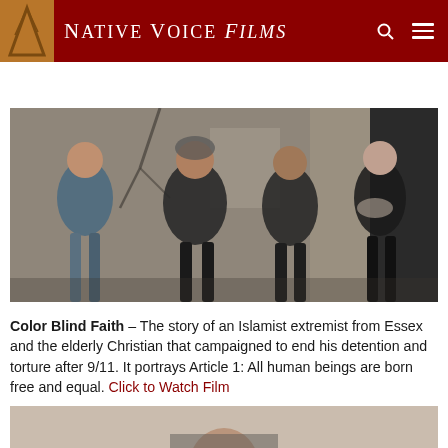Native Voice Films
Watch Film
[Figure (photo): Four women walking together outdoors near a building]
Color Blind Faith – The story of an Islamist extremist from Essex and the elderly Christian that campaigned to end his detention and torture after 9/11. It portrays Article 1: All human beings are born free and equal. Click to Watch Film
[Figure (photo): Partial image of a man, cropped at bottom of page]